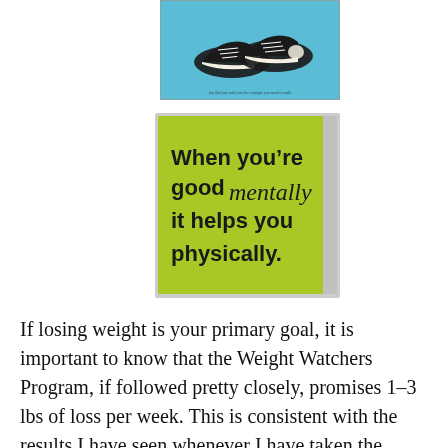[Figure (photo): Photo of two black and white Converse-style sneakers on a light blue poster background with some text at the bottom]
[Figure (photo): Photo of a lime green poster that reads: 'When you're good mentally it helps you physically.' The word 'mentally' is in a cursive/script style font, rest in bold sans-serif.]
If losing weight is your primary goal, it is important to know that the Weight Watchers Program, if followed pretty closely, promises 1-3 lbs of loss per week. This is consistent with the results I have seen whenever I have taken the program seriously.